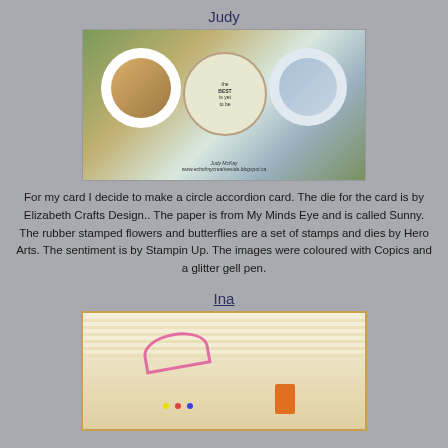Judy
[Figure (photo): A circle accordion card with three circular panels featuring floral and butterfly stamped images on patterned paper. Signed 'Judy McKay' with blog URL visible.]
For my card I decide to make a circle accordion card. The die for the card is by Elizabeth Crafts Design.. The paper is from My Minds Eye and is called Sunny.  The rubber stamped flowers and butterflies are a set of stamps and dies by Hero Arts.  The sentiment is by Stampin Up.  The images were coloured with Copics and a glitter gell pen.
Ina
[Figure (photo): A craft project resembling a sewing/needle book with striped accordion pages, pink ribbon, sewing pins with colored heads, and small pockets with supplies.]